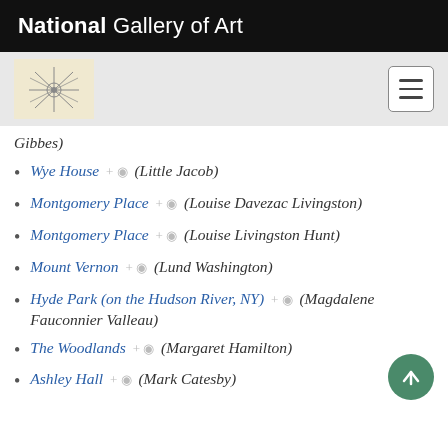National Gallery of Art
Gibbes)
Wye House (Little Jacob)
Montgomery Place (Louise Davezac Livingston)
Montgomery Place (Louise Livingston Hunt)
Mount Vernon (Lund Washington)
Hyde Park (on the Hudson River, NY) (Magdalene Fauconnier Valleau)
The Woodlands (Margaret Hamilton)
Ashley Hall (Mark Catesby)